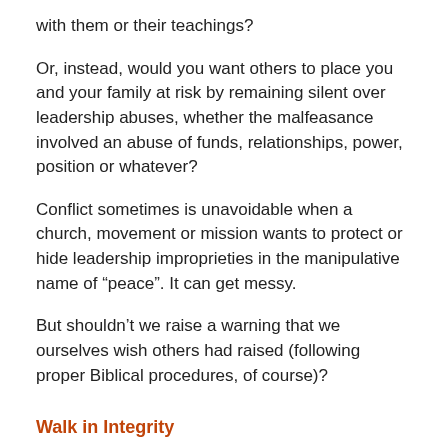with them or their teachings?
Or, instead, would you want others to place you and your family at risk by remaining silent over leadership abuses, whether the malfeasance involved an abuse of funds, relationships, power, position or whatever?
Conflict sometimes is unavoidable when a church, movement or mission wants to protect or hide leadership improprieties in the manipulative name of “peace”. It can get messy.
But shouldn’t we raise a warning that we ourselves wish others had raised (following proper Biblical procedures, of course)?
Walk in Integrity